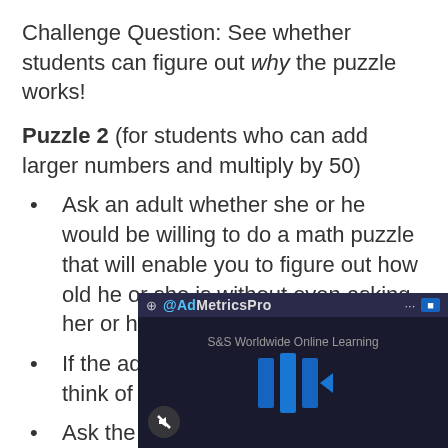Challenge Question: See whether students can figure out why the puzzle works!
Puzzle 2 (for students who can add larger numbers and multiply by 50)
Ask an adult whether she or he would be willing to do a math puzzle that will enable you to figure out how old he or she is without even asking her or his age!
If the adult agrees, ask him or her to think of a number.
Ask the person to double the number.
Then tell the person to add the number.
[Figure (screenshot): AdMetricsPro advertisement overlay with blue play button icon and S&S Worldwide Online Learning text on dark background]